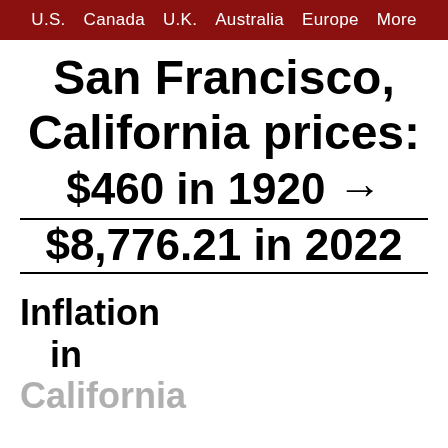U.S.  Canada  U.K.  Australia  Europe  More
San Francisco, California prices: $460 in 1920 → $8,776.21 in 2022
Inflation in California